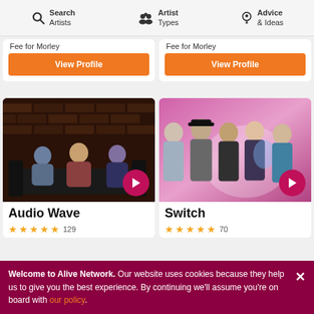Search Artists | Artist Types | Advice & Ideas
Fee for Morley
Fee for Morley
View Profile
View Profile
[Figure (photo): Four band members sitting on black leather sofas in front of a brick wall - Audio Wave band photo]
[Figure (photo): Five band members standing in front of pink/purple background - Switch band photo]
Audio Wave
Switch
★★★★★ 129
★★★★★ 70
Welcome to Alive Network. Our website uses cookies because they help us to give you the best experience. By continuing we'll assume you're on board with our policy.